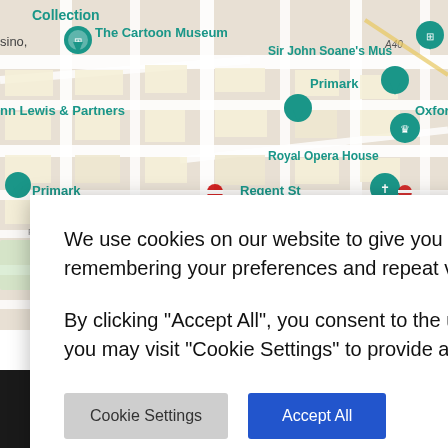[Figure (map): Google Maps screenshot showing central London area including Oxford Circus, Regent St, SOHO, Covent Garden, The Cartoon Museum, Primark, John Lewis & Partners, Royal Opera House, Sir John Soane's Museum, and other landmarks with map pins.]
We use cookies on our website to give you the most relevant experience by remembering your preferences and repeat visits.

By clicking "Accept All", you consent to the use of ALL the cookies. However, you may visit "Cookie Settings" to provide a controlled consent.
Cookie Settings
Accept All
worldpay
e | Terms
ons